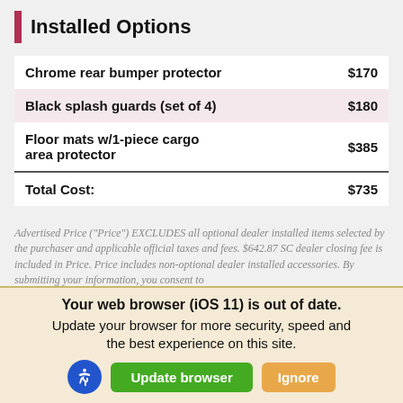Installed Options
| Item | Price |
| --- | --- |
| Chrome rear bumper protector | $170 |
| Black splash guards (set of 4) | $180 |
| Floor mats w/1-piece cargo area protector | $385 |
| Total Cost: | $735 |
Advertised Price ("Price") EXCLUDES all optional dealer installed items selected by the purchaser and applicable official taxes and fees. $642.87 SC dealer closing fee is included in Price. Price includes non-optional dealer installed accessories. By submitting your information, you consent to
Your web browser (iOS 11) is out of date. Update your browser for more security, speed and the best experience on this site.